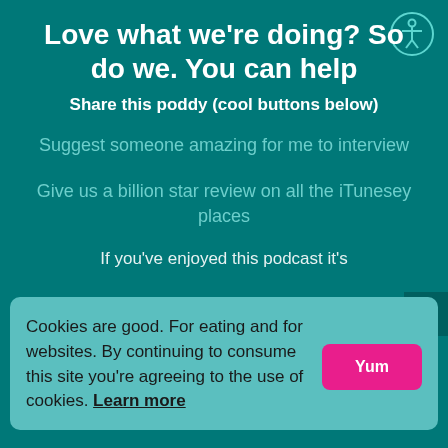Love what we're doing? So do we. You can help
Share this poddy (cool buttons below)
Suggest someone amazing for me to interview
Give us a billion star review on all the iTunesey places
If you've enjoyed this podcast it's
Cookies are good. For eating and for websites. By continuing to consume this site you're agreeing to the use of cookies. Learn more
Jackson Crisp for his superb and patient